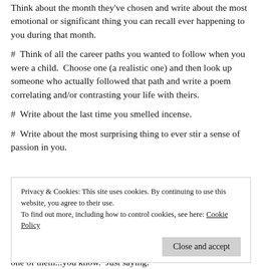Think about the month they've chosen and write about the most emotional or significant thing you can recall ever happening to you during that month.
#  Think of all the career paths you wanted to follow when you were a child.  Choose one (a realistic one) and then look up someone who actually followed that path and write a poem correlating and/or contrasting your life with theirs.
#  Write about the last time you smelled incense.
#  Write about the most surprising thing to ever stir a sense of passion in you.
Privacy & Cookies: This site uses cookies. By continuing to use this website, you agree to their use.
To find out more, including how to control cookies, see here: Cookie Policy
one of them...you know. Just saying.